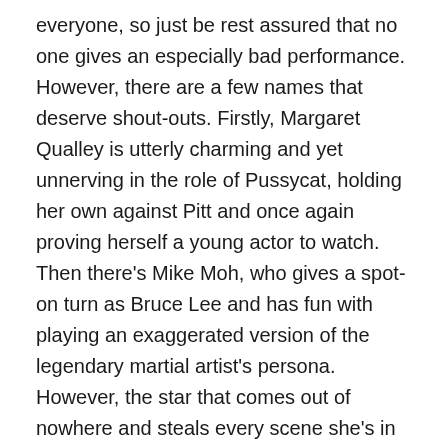everyone, so just be rest assured that no one gives an especially bad performance. However, there are a few names that deserve shout-outs. Firstly, Margaret Qualley is utterly charming and yet unnerving in the role of Pussycat, holding her own against Pitt and once again proving herself a young actor to watch. Then there's Mike Moh, who gives a spot-on turn as Bruce Lee and has fun with playing an exaggerated version of the legendary martial artist's persona. However, the star that comes out of nowhere and steals every scene she's in is Julia Butters as the precocious young method actor Trudi. Her scenes with DiCaprio are among the film's best, and made me wish the whole movie was just about these two actors at opposite ends of their careers learning from each other.